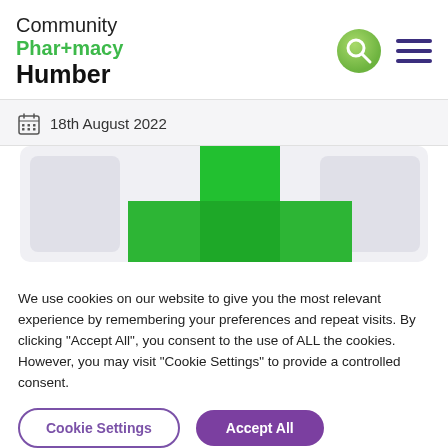[Figure (logo): Community Pharmacy Humber logo with green cross in Pharmacy word]
18th August 2022
[Figure (illustration): Partial view of a green pharmacy cross/plus symbol on a light grey background]
We use cookies on our website to give you the most relevant experience by remembering your preferences and repeat visits. By clicking "Accept All", you consent to the use of ALL the cookies. However, you may visit "Cookie Settings" to provide a controlled consent.
Cookie Settings
Accept All